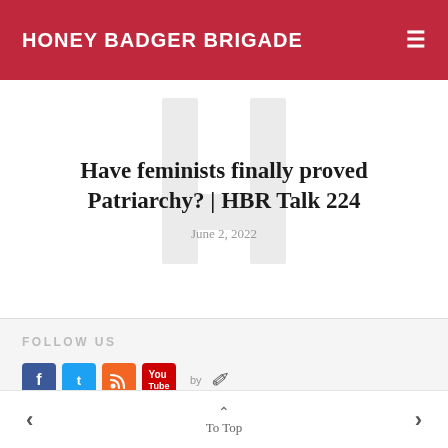HONEY BADGER BRIGADE
Have feminists finally proved Patriarchy? | HBR Talk 224
June 2, 2022
FOLLOW US
[Figure (other): Social media icons: Facebook, Twitter, RSS, YouTube, with 'by' feather attribution]
To Top navigation with left and right arrows